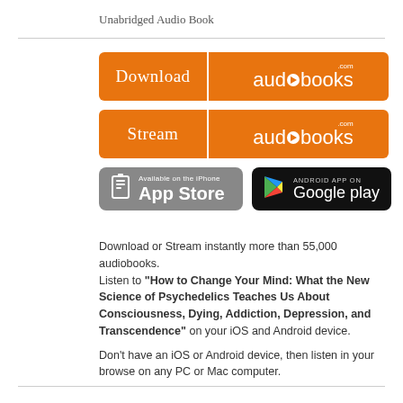Unabridged Audio Book
[Figure (logo): Download audiobooks.com orange button]
[Figure (logo): Stream audiobooks.com orange button]
[Figure (logo): Available on the iPhone App Store button]
[Figure (logo): Android App on Google Play button]
Download or Stream instantly more than 55,000 audiobooks.
Listen to "How to Change Your Mind: What the New Science of Psychedelics Teaches Us About Consciousness, Dying, Addiction, Depression, and Transcendence" on your iOS and Android device.

Don't have an iOS or Android device, then listen in your browse on any PC or Mac computer.